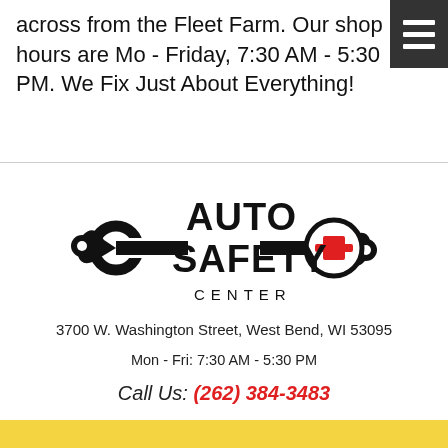across from the Fleet Farm. Our shop hours are Mo - Friday, 7:30 AM - 5:30 PM. We Fix Just About Everything!
[Figure (logo): Auto Safety Center logo with wrench and red cross symbol]
3700 W. Washington Street, West Bend, WI 53095
Mon - Fri: 7:30 AM - 5:30 PM
Call Us: (262) 384-3483